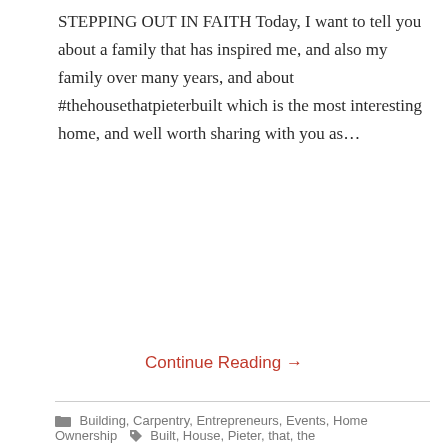STEPPING OUT IN FAITH Today, I want to tell you about a family that has inspired me, and also my family over many years, and about #thehousethatpieterbuilt which is the most interesting home, and well worth sharing with you as…
Continue Reading →
Building, Carpentry, Entrepreneurs, Events, Home Ownership  Built, House, Pieter, that, the
WHAT IS THE HISTORY OF GLASS
Posted on June 1, 2019 by Jill Alexa
[Figure (photo): Blog post featured image showing text 'WHAT IS THE HISTORY OF GLASS' on a yellow banner above a photo of glass objects]